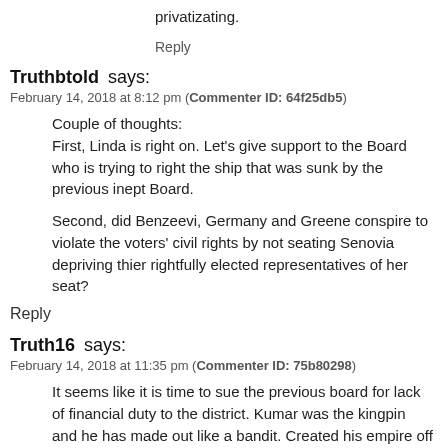privatizating.
Reply
Truthbtold says:
February 14, 2018 at 8:12 pm (Commenter ID: 64f25db5)
Couple of thoughts:
First, Linda is right on. Let's give support to the Board who is trying to right the ship that was sunk by the previous inept Board.
Second, did Benzeevi, Germany and Greene conspire to violate the voters' civil rights by not seating Senovia depriving thier rightfully elected representatives of her seat?
Reply
Truth16 says:
February 14, 2018 at 11:35 pm (Commenter ID: 75b80298)
It seems like it is time to sue the previous board for lack of financial duty to the district. Kumar was the kingpin and he has made out like a bandit. Created his empire off the